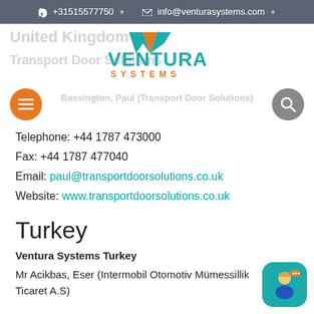+31515577750   info@venturasystems.com
[Figure (logo): Ventura Systems logo with teal V-shaped arrow and orange/teal text reading VENTURA SYSTEMS]
United Kingdom and Transport Door Solutions
Bassington, Paul (Transport Door Solutions)
Telephone: +44 1787 473000
Fax: +44 1787 477040
Email: paul@transportdoorsolutions.co.uk
Website: www.transportdoorsolutions.co.uk
Turkey
Ventura Systems Turkey
Mr Acikbas, Eser (Intermobil Otomotiv Mümessillik Ticaret A.S)